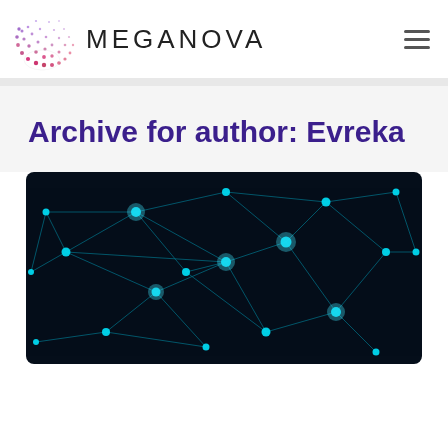[Figure (logo): Meganova logo: abstract dotted arc/fan shape in pink/purple gradient dots on left, MEGANOVA text in large spaced uppercase letters on right]
[Figure (other): Hamburger menu icon (three horizontal lines)]
Archive for author: Evreka
[Figure (photo): Dark network/blockchain visualization: glowing cyan-blue nodes connected by thin light-blue lines on a black background, abstract technology concept image]